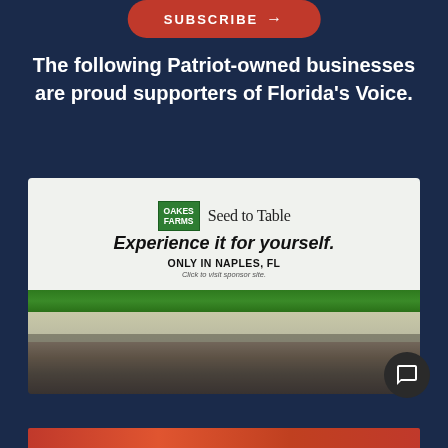[Figure (illustration): Red subscribe button with arrow at top of dark navy background]
The following Patriot-owned businesses are proud supporters of Florida's Voice.
[Figure (photo): Oakes Farms Seed to Table advertisement. Shows logo and storefront with large crowd. Text reads: Experience it for yourself. ONLY IN NAPLES, FL. Click to visit sponsor site.]
[Figure (photo): Partial bottom strip of another advertisement in red/orange tones]